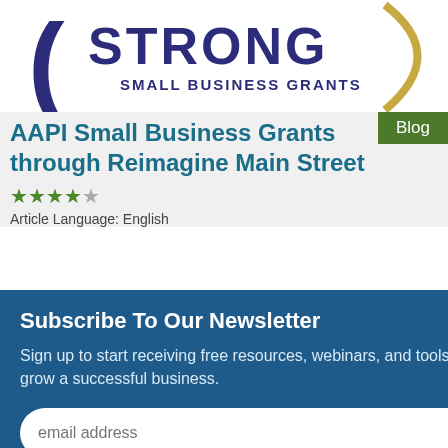[Figure (logo): Strong Small Business Grants logo with parentheses and circular arc]
Blog
AAPI Small Business Grants through Reimagine Main Street
★★★★☆
Article Language: English
Subscribe To Our Newsletter
Sign up to start receiving free resources, webinars, and tools to help you start and grow a successful business.
[Figure (photo): Bottom strip showing a man outdoors with greenery background]